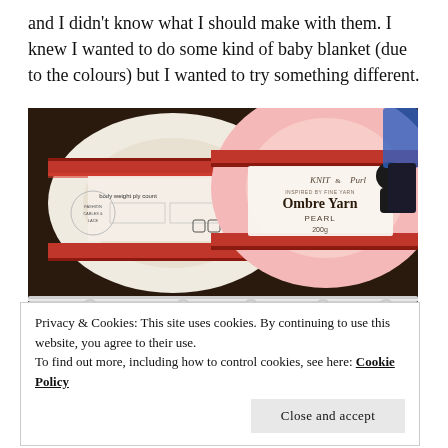and I didn't know what I should make with them. I knew I wanted to do some kind of baby blanket (due to the colours) but I wanted to try something different.
[Figure (photo): Two spools of yarn on a rack. The front spool shows a pink ombre yarn labeled 'KNIT & Purl Ombre Yarn PEARL 200g'. Various colorful stitch markers hang from the rack in front.]
Privacy & Cookies: This site uses cookies. By continuing to use this website, you agree to their use.
To find out more, including how to control cookies, see here: Cookie Policy
Close and accept
praying I'd have enough yarn for each. I did just. I tried to push